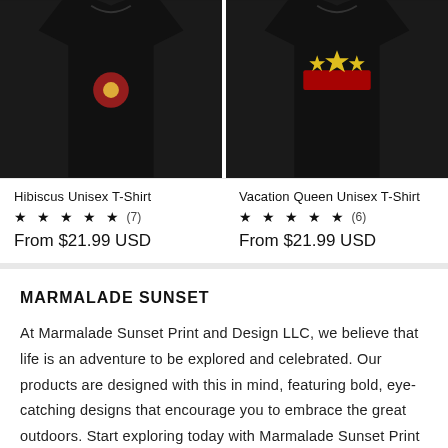[Figure (photo): Product image of Hibiscus Unisex T-Shirt on black shirt background, partially cropped at top]
[Figure (photo): Product image of Vacation Queen Unisex T-Shirt on black shirt background with red/yellow graphic, partially cropped at top]
Hibiscus Unisex T-Shirt
★ ★ ★ ★ ★ (7)
From $21.99 USD
Vacation Queen Unisex T-Shirt
★ ★ ★ ★ ★ (6)
From $21.99 USD
MARMALADE SUNSET
At Marmalade Sunset Print and Design LLC, we believe that life is an adventure to be explored and celebrated. Our products are designed with this in mind, featuring bold, eye-catching designs that encourage you to embrace the great outdoors. Start exploring today with Marmalade Sunset Print and